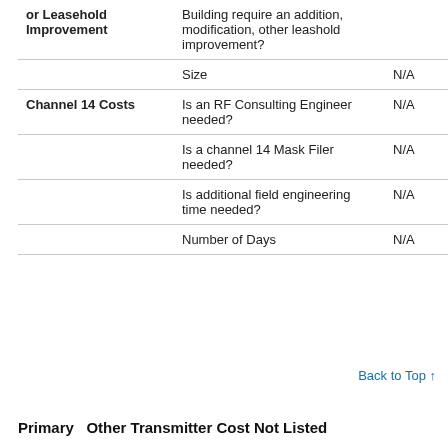|  |  |  |
| --- | --- | --- |
| or Leasehold Improvement | Building require an addition, modification, other leashold improvement? |  |
|  | Size | N/A |
| Channel 14 Costs | Is an RF Consulting Engineer needed? | N/A |
|  | Is a channel 14 Mask Filer needed? | N/A |
|  | Is additional field engineering time needed? | N/A |
|  | Number of Days | N/A |
Back to Top ↑
Primary   Other Transmitter Cost Not Listed